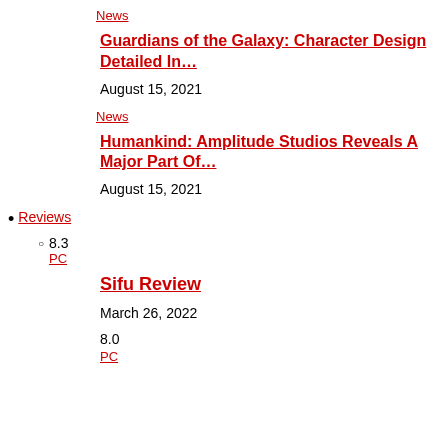News
Guardians of the Galaxy: Character Design Detailed In…
August 15, 2021
News
Humankind: Amplitude Studios Reveals A Major Part Of…
August 15, 2021
Reviews
8.3
PC
Sifu Review
March 26, 2022
8.0
PC